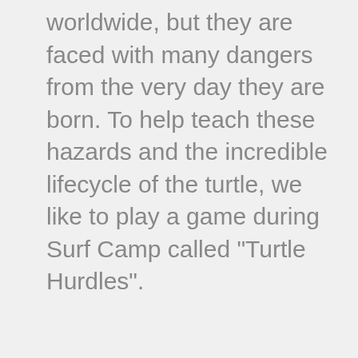worldwide, but they are faced with many dangers from the very day they are born. To help teach these hazards and the incredible lifecycle of the turtle, we like to play a game during Surf Camp called "Turtle Hurdles".